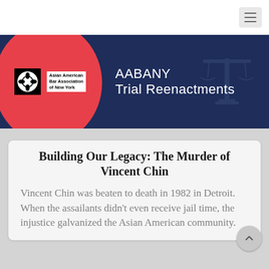[Figure (screenshot): Navigation bar with hamburger menu button at top right]
[Figure (logo): AABANY Trial Reenactments header banner with Asian American Bar Association of New York logo on red circle background and scales of justice watermark]
Building Our Legacy: The Murder of Vincent Chin
Vincent Chin was beaten to death in 1982 in Detroit. When the assailants didn't even receive jail time, the injustice galvanized the Asian American community.